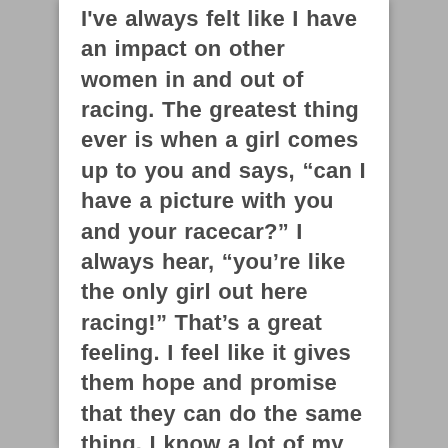I've always felt like I have an impact on other women in and out of racing. The greatest thing ever is when a girl comes up to you and says, “can I have a picture with you and your racecar?” I always hear, “you’re like the only girl out here racing!” That’s a great feeling. I feel like it gives them hope and promise that they can do the same thing. I know a lot of my closest friends have become way more into cars and racing than they ever would have been if I didn’t race. I hope that as my racing